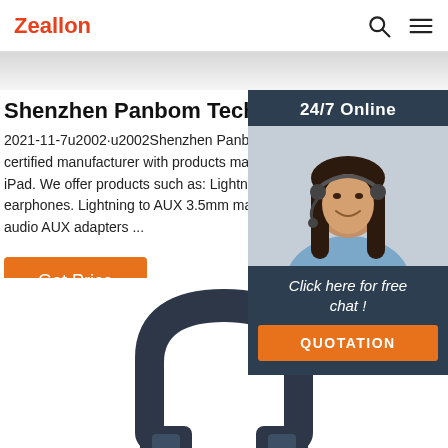Zeallon
Shenzhen Panbom Technology Corp., Limited
2021-11-7u2002·u2002Shenzhen Panbom Technology Corp., Limited is a certified manufacturer with products made for iPhone, iPod, iPad. We offer products such as: Lightning USB cables, Lightning earphones. Lightning to AUX 3.5mm male adaptor, and other USB audio AUX adapters ...
Get Price
24/7 Online
Click here for free chat !
QUOTATION
[Figure (photo): Customer service representative woman wearing a headset, smiling, used in a 24/7 Online chat widget on the right side of the page]